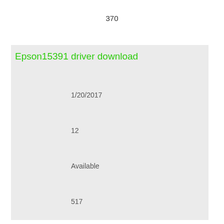370
Epson15391 driver download
1/20/2017
12
Available
517